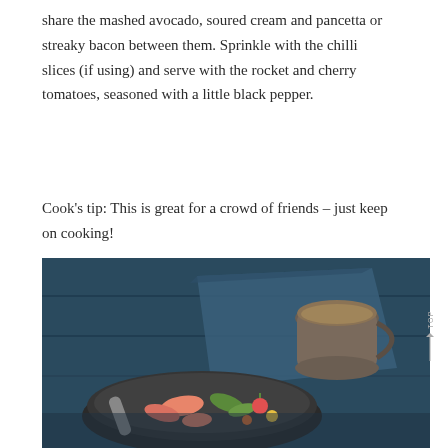share the mashed avocado, soured cream and pancetta or streaky bacon between them. Sprinkle with the chilli slices (if using) and serve with the rocket and cherry tomatoes, seasoned with a little black pepper.
Cook’s tip: This is great for a crowd of friends – just keep on cooking!
[Figure (photo): Overhead food photography on dark blue wooden background. A dark ceramic bowl/plate with prawns/shrimp, salad leaves, radishes and colorful vegetables, with a ceramic jug of sauce on a blue linen napkin.]